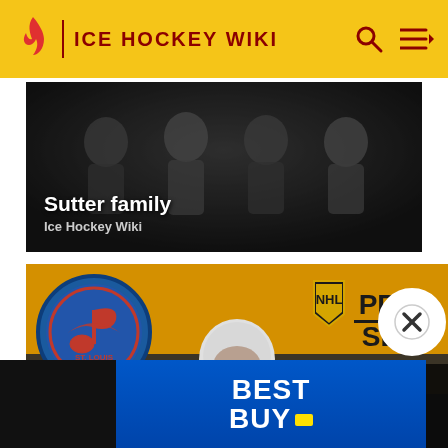ICE HOCKEY WIKI
[Figure (photo): Sutter family group photo in black and white, showing multiple hockey players]
Sutter family
Ice Hockey Wiki
[Figure (photo): Rich Sutter ice hockey player wearing white helmet, in arena with crowd. Overlaid St. Louis Blues circular logo and NHL Pro Set trading card logo on yellow background.]
Rich Sutter
Ice Ho
[Figure (logo): Best Buy advertisement banner with white bold BEST BUY. text on blue background with yellow price tag icon]
[Figure (other): X close button circle on right side]